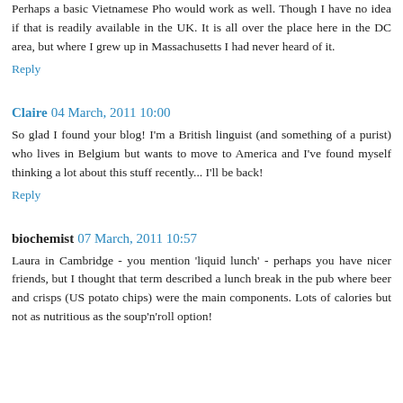Perhaps a basic Vietnamese Pho would work as well. Though I have no idea if that is readily available in the UK. It is all over the place here in the DC area, but where I grew up in Massachusetts I had never heard of it.
Reply
Claire 04 March, 2011 10:00
So glad I found your blog! I'm a British linguist (and something of a purist) who lives in Belgium but wants to move to America and I've found myself thinking a lot about this stuff recently... I'll be back!
Reply
biochemist 07 March, 2011 10:57
Laura in Cambridge - you mention 'liquid lunch' - perhaps you have nicer friends, but I thought that term described a lunch break in the pub where beer and crisps (US potato chips) were the main components. Lots of calories but not as nutritious as the soup'n'roll option!